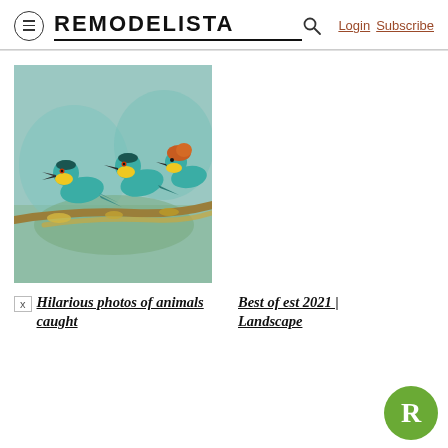REMODELISTA — Login Subscribe
[Figure (photo): Three colorful bee-eater birds with green, yellow, and teal plumage perched on a branch with yellow lichen against a blurred green background.]
Hilarious photos of animals caught
Best of est 2021 | Landscape